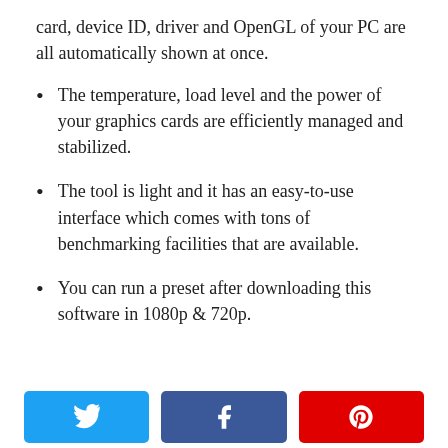card, device ID, driver and OpenGL of your PC are all automatically shown at once.
The temperature, load level and the power of your graphics cards are efficiently managed and stabilized.
The tool is light and it has an easy-to-use interface which comes with tons of benchmarking facilities that are available.
You can run a preset after downloading this software in 1080p & 720p.